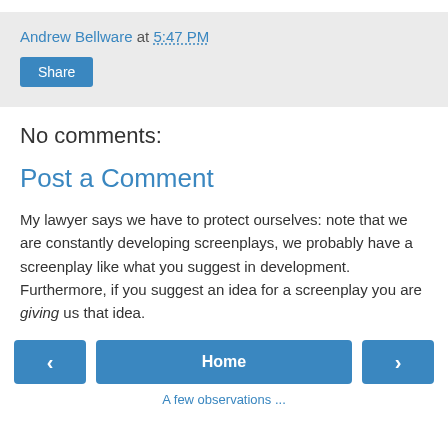Andrew Bellware at 5:47 PM
Share
No comments:
Post a Comment
My lawyer says we have to protect ourselves: note that we are constantly developing screenplays, we probably have a screenplay like what you suggest in development. Furthermore, if you suggest an idea for a screenplay you are giving us that idea.
‹  Home  ›